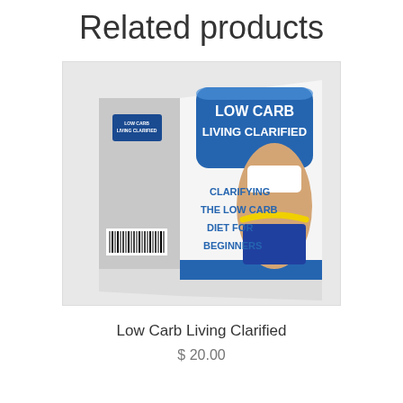Related products
[Figure (photo): Product box image for 'Low Carb Living Clarified' — a 3D book/box with blue cover showing a woman's torso measuring her waist with a yellow tape measure. Text on cover reads: LOW CARB LIVING CLARIFIED, CLARIFYING THE LOW CARB DIET FOR BEGINNERS.]
Low Carb Living Clarified
$ 20.00